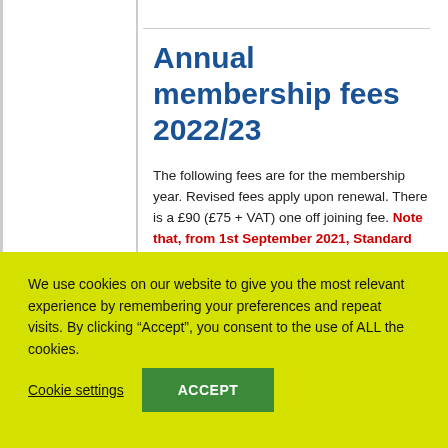Annual membership fees 2022/23
The following fees are for the membership year. Revised fees apply upon renewal. There is a £90 (£75 + VAT) one off joining fee. Note that, from 1st September 2021, Standard Rate VAT has been applied. VAT inclusive prices are shown below.
We use cookies on our website to give you the most relevant experience by remembering your preferences and repeat visits. By clicking “Accept”, you consent to the use of ALL the cookies.